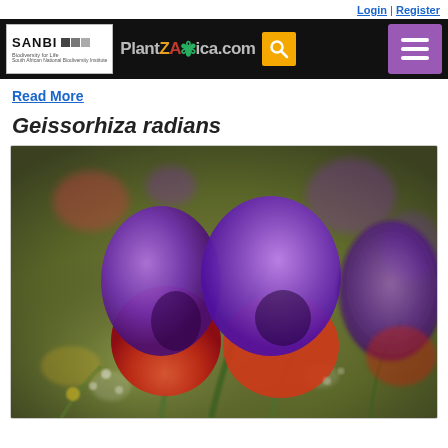Login | Register
[Figure (logo): SANBI and PlantZAfrica.com website header bar with SANBI logo, PlantZAfrica.com brand name, search button, and menu button]
Read More
Geissorhiza radians
[Figure (photo): Close-up photograph of Geissorhiza radians flowers with vivid purple petals and red-orange lower sections, set against a blurred green and olive background]